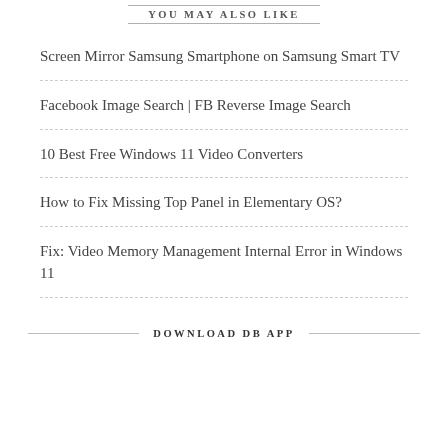YOU MAY ALSO LIKE
Screen Mirror Samsung Smartphone on Samsung Smart TV
Facebook Image Search | FB Reverse Image Search
10 Best Free Windows 11 Video Converters
How to Fix Missing Top Panel in Elementary OS?
Fix: Video Memory Management Internal Error in Windows 11
DOWNLOAD DB APP